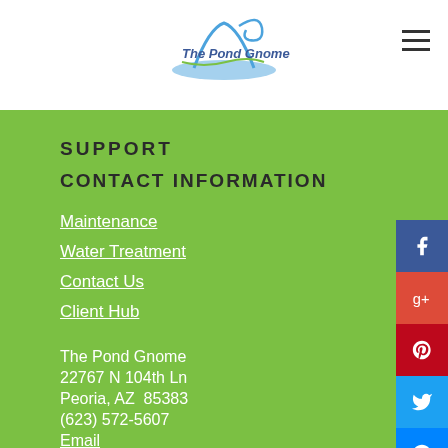The Pond Gnome - logo and navigation header
SUPPORT
CONTACT INFORMATION
Maintenance
Water Treatment
Contact Us
Client Hub
The Pond Gnome
22767 N 104th Ln
Peoria, AZ  85383
(623) 572-5607
Email